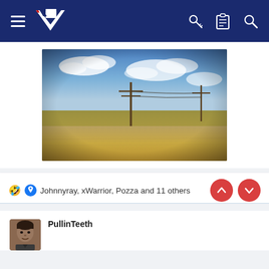[Figure (screenshot): Website navigation bar with hamburger menu, NZ Warriors logo, key icon, clipboard icon, and search icon on dark blue background]
[Figure (photo): Outdoor countryside photo showing a dirt road, telegraph/telephone poles, dry grassland, and a blue sky with white clouds]
🤣 👍 Johnnyray, xWarrior, Pozza and 11 others
PullinTeeth